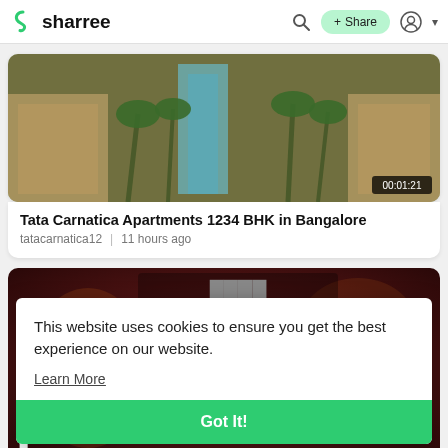sharree — navigation bar with search icon, + Share button, and user account icon
[Figure (screenshot): Video thumbnail of Tata Carnatica apartment complex with palm trees and buildings, duration 00:01:21]
Tata Carnatica Apartments 1234 BHK in Bangalore
tatacarnatica12 | 11 hours ago
[Figure (screenshot): Dark red/maroon video thumbnail with large stylized letters C, IS, I visible on left side]
This website uses cookies to ensure you get the best experience on our website.
Learn More
Got It!